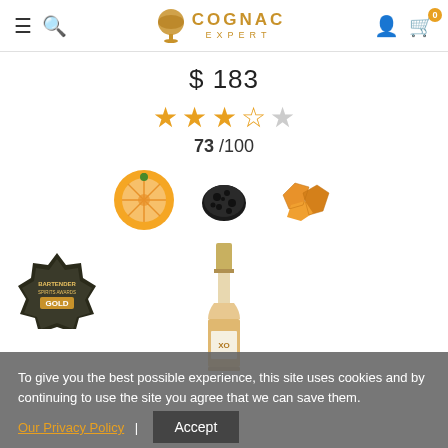[Figure (logo): Cognac Expert website header with logo, hamburger menu, search icon, user icon, and cart icon]
$ 183
[Figure (other): Star rating: 3.5 out of 5 stars (orange filled stars with last star half), score 73/100]
[Figure (other): Three flavor icons: orange slice, black truffle, and candied citrus peel]
[Figure (photo): Cognac bottle partially visible with gold cap, and Bartender Spirits Awards Gold badge on the left]
To give you the best possible experience, this site uses cookies and by continuing to use the site you agree that we can save them. Our Privacy Policy | Accept